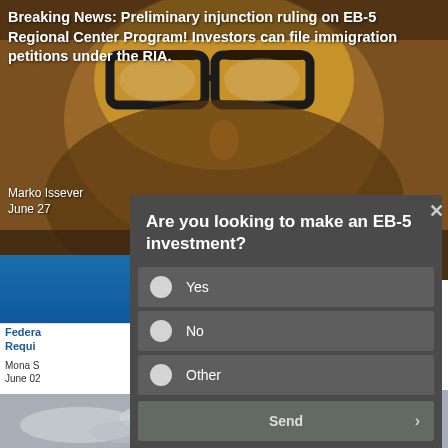[Figure (photo): Close-up photo of a person wearing thick-framed glasses, background blurred, warm brownish tones]
Breaking News: Preliminary injunction ruling on EB-5 Regional Center Program! Investors can file immigration petitions under the RIA.
Marko Issever
June 27
Federa
Requi
Mona S
June 02
[Figure (screenshot): Survey modal popup with dark background asking 'Are you looking to make an EB-5 investment?' with radio options Yes, No, Other and a Send button]
[Figure (photo): Sky with clouds, bottom portion of page background]